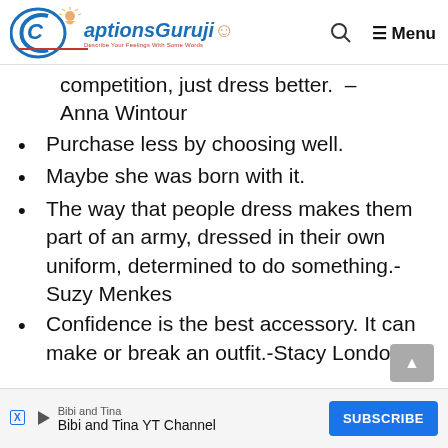CaptionsGuruji — Describe Your Feelings With Some Words | Search | Menu
competition, just dress better. – Anna Wintour
Purchase less by choosing well.
Maybe she was born with it.
The way that people dress makes them part of an army, dressed in their own uniform, determined to do something.-Suzy Menkes
Confidence is the best accessory. It can make or break an outfit.-Stacy London
Bibi and Tina | Bibi and Tina YT Channel | SUBSCRIBE